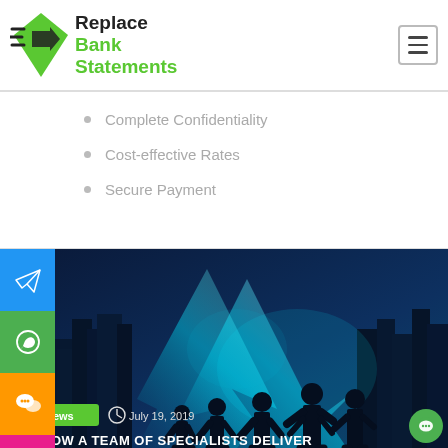[Figure (logo): Replace Bank Statements logo with green diamond/arrow icon and black and green text]
[Figure (infographic): Hamburger menu icon (three horizontal lines) in a bordered box top right]
Complete Confidentiality
Cost-effective Rates
Secure Payment
[Figure (photo): Business team silhouettes against a city skyline with glowing cyan/teal upward arrows, news article hero image with 'News' tag, date 'July 19, 2019', and title 'HOW A TEAM OF SPECIALISTS DELIVER']
HOW A TEAM OF SPECIALISTS DELIVER